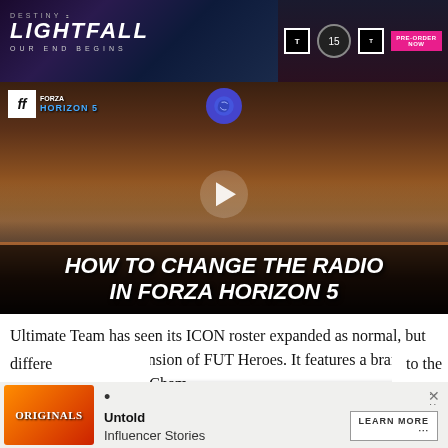[Figure (screenshot): Destiny 2 Lightfall advertisement banner with dark purple/blue background, game logo, 'OUR END BEGINS' tagline, rating badge, countdown timer, and pre-order button]
[Figure (screenshot): Forza Horizon 5 video thumbnail showing a red sports car racing on a road with a plane flying overhead, Forza logo top-left, channel icon top-center, play button in center, and title 'HOW TO CHANGE THE RADIO IN FORZA HORIZON 5' overlaid at bottom]
Ultimate Team has seen its ICON roster expanded as normal, but this time with an extension of FUT Heroes. It features a brand-new method for FUT Champions different to the
[Figure (screenshot): Advertisement banner with Originals logo on left, bullet point with 'Untold Influencer Stories' text in center, and 'LEARN MORE' button on right, with X close button]